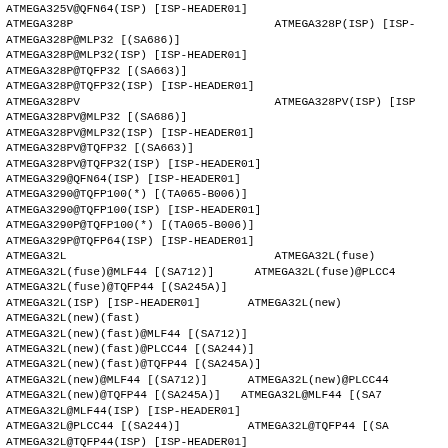ATMEGA325V@QFN64(ISP) [ISP-HEADER01]
ATMEGA328P                                    ATMEGA328P(ISP) [ISP-
ATMEGA328P@MLP32 [(SA686)]
ATMEGA328P@MLP32(ISP) [ISP-HEADER01]
ATMEGA328P@TQFP32 [(SA663)]
ATMEGA328P@TQFP32(ISP) [ISP-HEADER01]
ATMEGA328PV                                   ATMEGA328PV(ISP) [ISP
ATMEGA328PV@MLP32 [(SA686)]
ATMEGA328PV@MLP32(ISP) [ISP-HEADER01]
ATMEGA328PV@TQFP32 [(SA663)]
ATMEGA328PV@TQFP32(ISP) [ISP-HEADER01]
ATMEGA329@QFN64(ISP) [ISP-HEADER01]
ATMEGA3290@TQFP100(*) [(TA065-B006)]
ATMEGA3290@TQFP100(ISP) [ISP-HEADER01]
ATMEGA3290P@TQFP100(*) [(TA065-B006)]
ATMEGA329P@TQFP64(ISP) [ISP-HEADER01]
ATMEGA32L                                     ATMEGA32L(fuse)
ATMEGA32L(fuse)@MLF44 [(SA712)]              ATMEGA32L(fuse)@PLCC4
ATMEGA32L(fuse)@TQFP44 [(SA245A)]
ATMEGA32L(ISP) [ISP-HEADER01]               ATMEGA32L(new)
ATMEGA32L(new)(fast)
ATMEGA32L(new)(fast)@MLF44 [(SA712)]
ATMEGA32L(new)(fast)@PLCC44 [(SA244)]
ATMEGA32L(new)(fast)@TQFP44 [(SA245A)]
ATMEGA32L(new)@MLF44 [(SA712)]              ATMEGA32L(new)@PLCC44
ATMEGA32L(new)@TQFP44 [(SA245A)]           ATMEGA32L@MLF44 [(SA7
ATMEGA32L@MLF44(ISP) [ISP-HEADER01]
ATMEGA32L@PLCC44 [(SA244)]                  ATMEGA32L@TQFP44 [(SA
ATMEGA32L@TQFP44(ISP) [ISP-HEADER01]
ATMEGA406@LQFP48 [(SA248)]                  ATMEGA48